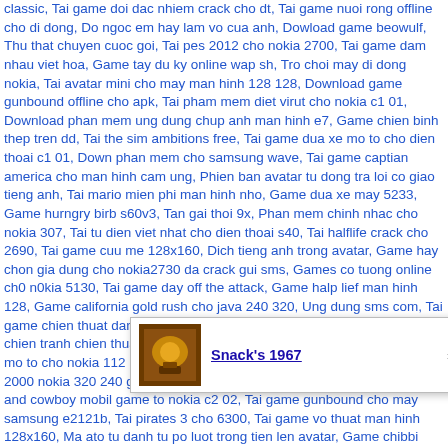classic, Tai game doi dac nhiem crack cho dt, Tai game nuoi rong offline cho di dong, Do ngoc em hay lam vo cua anh, Dowload game beowulf, Thu that chuyen cuoc goi, Tai pes 2012 cho nokia 2700, Tai game dam nhau viet hoa, Game tay du ky online wap sh, Tro choi may di dong nokia, Tai avatar mini cho may man hinh 128 128, Download game gunbound offline cho apk, Tai pham mem diet virut cho nokia c1 01, Download phan mem ung dung chup anh man hinh e7, Game chien binh thep tren dd, Tai the sim ambitions free, Tai game dua xe mo to cho dien thoai c1 01, Down phan mem cho samsung wave, Tai game captian america cho man hinh cam ung, Phien ban avatar tu dong tra loi co giao tieng anh, Tai mario mien phi man hinh nho, Game dua xe may 5233, Game hurngry birb s60v3, Tan gai thoi 9x, Phan mem chinh nhac cho nokia 307, Tai tu dien viet nhat cho dien thoai s40, Tai halflife crack cho 2690, Tai game cuu me 128x160, Dich tieng anh trong avatar, Game hay chon gia dung cho nokia2730 da crack gui sms, Games co tuong online ch0 n0kia 5130, Tai game day off the attack, Game halp lief man hinh 128, Game california gold rush cho java 240 320, Ung dung sms com, Tai game chien thuat dan tran theo luot hay cho mobile 320x240, Tai game chien tranh chien thuat hay cho cam ung java da crack, Tai game dua xe mo to cho nokia 112 mang hinh 128 160, Ung dung xem anh cho nokia, 2000 nokia 320 240 games downloads, Nokia asha 205 games, Aliens and cowboy mobil game to nokia c2 02, Tai game gunbound cho may samsung e2121b, Tai pirates 3 cho 6300, Tai game vo thuat man hinh 128x160, Ma ato tu danh tu po luot trong tien len avatar, Game chibbi apk, Cach xem video youtube toan man hinh asha 311, Tai zalo chat cho man hinh 128x128, Tai game xay thap phong thu java, Tai game hack... Download game doodle jump 240 320, Tai game de che 4 hack tn cho dien thoai 6233,
[Figure (other): Popup overlay with a thumbnail image of Snack's 1967 game and a close button (X)]